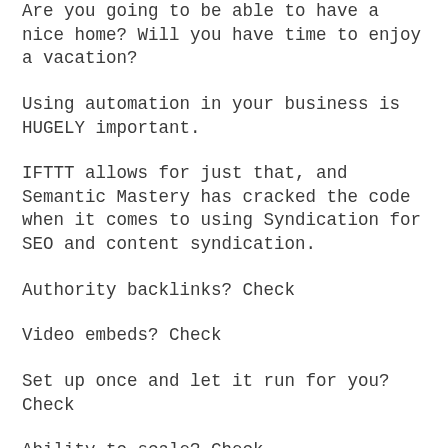Are you going to be able to have a nice home? Will you have time to enjoy a vacation?
Using automation in your business is HUGELY important.
IFTTT allows for just that, and Semantic Mastery has cracked the code when it comes to using Syndication for SEO and content syndication.
Authority backlinks? Check
Video embeds? Check
Set up once and let it run for you? Check
Ability to scale? Check